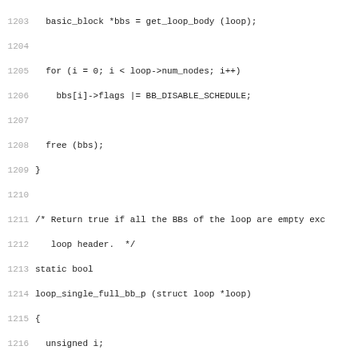Source code listing, lines 1203–1234, showing C code for loop body processing and loop_single_full_bb_p function.